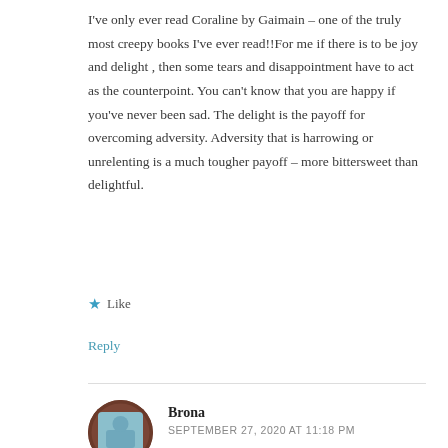I've only ever read Coraline by Gaimain – one of the truly most creepy books I've ever read!!For me if there is to be joy and delight , then some tears and disappointment have to act as the counterpoint. You can't know that you are happy if you've never been sad. The delight is the payoff for overcoming adversity. Adversity that is harrowing or unrelenting is a much tougher payoff – more bittersweet than delightful.
★ Like
Reply
[Figure (illustration): Circular avatar icon with brown border and teal/blue user silhouette graphic]
Brona
SEPTEMBER 27, 2020 AT 11:18 PM
Your list reminded me that I had forgotten Winnie-the-Pooh!